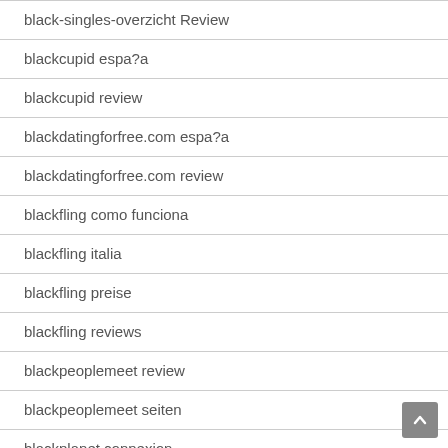black-singles-overzicht Review
blackcupid espa?a
blackcupid review
blackdatingforfree.com espa?a
blackdatingforfree.com review
blackfling como funciona
blackfling italia
blackfling preise
blackfling reviews
blackpeoplemeet review
blackpeoplemeet seiten
blackplanet connexion
blackplanet dating